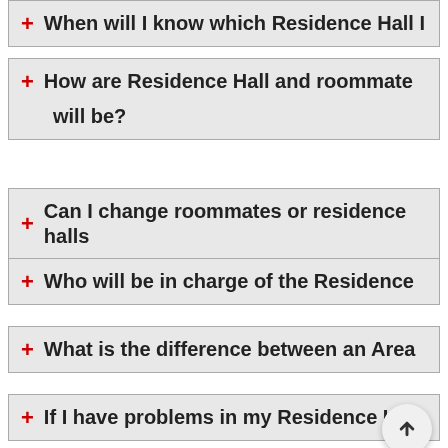+ When will I know which Residence Hall I
+ How are Residence Hall and roommate will be?
+ Can I change roommates or residence halls
+ Who will be in charge of the Residence
+ What is the difference between an Area
+ If I have problems in my Residence Ha
+ Are the Residence Halls safe?